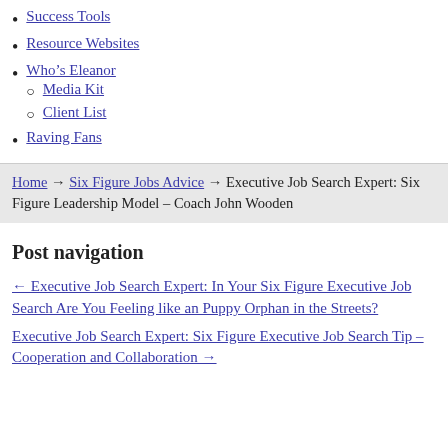Success Tools
Resource Websites
Who's Eleanor
Media Kit
Client List
Raving Fans
Home → Six Figure Jobs Advice → Executive Job Search Expert: Six Figure Leadership Model – Coach John Wooden
Post navigation
← Executive Job Search Expert: In Your Six Figure Executive Job Search Are You Feeling like an Puppy Orphan in the Streets?
Executive Job Search Expert: Six Figure Executive Job Search Tip – Cooperation and Collaboration →